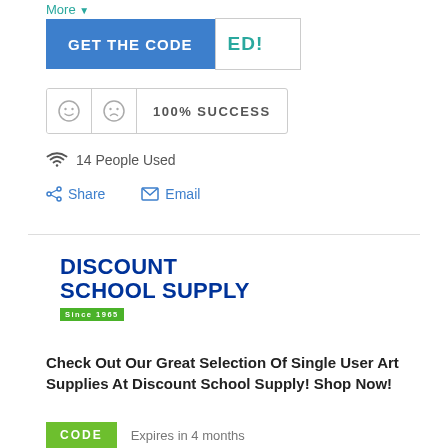More
[Figure (screenshot): GET THE CODE button in blue with partially revealed code 'ED!' in white box]
[Figure (infographic): Feedback row with happy face, sad face icons and 100% SUCCESS text]
14 People Used
Share   Email
[Figure (logo): Discount School Supply logo in dark blue bold text with green bar 'Since 1965']
Check Out Our Great Selection Of Single User Art Supplies At Discount School Supply! Shop Now!
CODE   Expires in 4 months